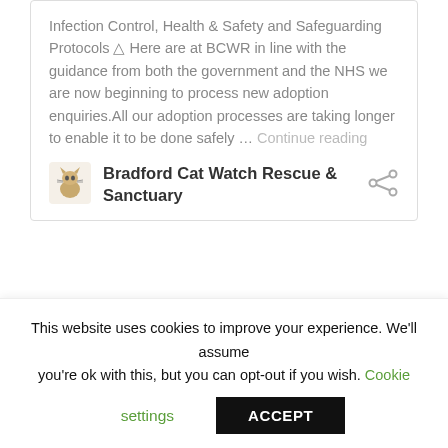Infection Control, Health & Safety and Safeguarding Protocols ⚠ Here are at BCWR in line with the guidance from both the government and the NHS we are now beginning to process new adoption enquiries.All our adoption processes are taking longer to enable it to be done safely … Continue reading
[Figure (logo): Bradford Cat Watch Rescue & Sanctuary logo — small cat illustration]
Bradford Cat Watch Rescue & Sanctuary
[Figure (other): Share icon (network/share symbol)]
[Figure (other): Pin/pushpin icon button (orange circle with pushpin)]
This website uses cookies to improve your experience. We'll assume you're ok with this, but you can opt-out if you wish. Cookie settings ACCEPT